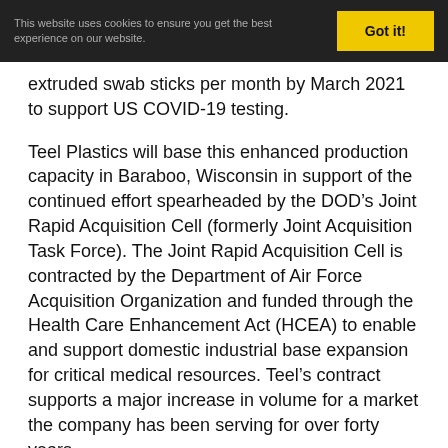This website uses cookies to ensure you get the best experience on our website   Got it!
extruded swab sticks per month by March 2021 to support US COVID-19 testing.
Teel Plastics will base this enhanced production capacity in Baraboo, Wisconsin in support of the continued effort spearheaded by the DOD’s Joint Rapid Acquisition Cell (formerly Joint Acquisition Task Force). The Joint Rapid Acquisition Cell is contracted by the Department of Air Force Acquisition Organization and funded through the Health Care Enhancement Act (HCEA) to enable and support domestic industrial base expansion for critical medical resources. Teel’s contract supports a major increase in volume for a market the company has been serving for over forty years.
Teel is also manufacturing an array of other products used in the fight against COVID-19. These include components